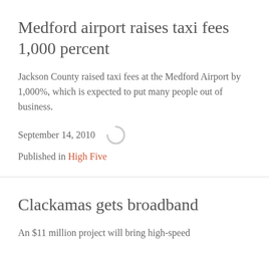Medford airport raises taxi fees 1,000 percent
Jackson County raised taxi fees at the Medford Airport by 1,000%, which is expected to put many people out of business.
September 14, 2010
Published in High Five
Clackamas gets broadband
An $11 million project will bring high-speed